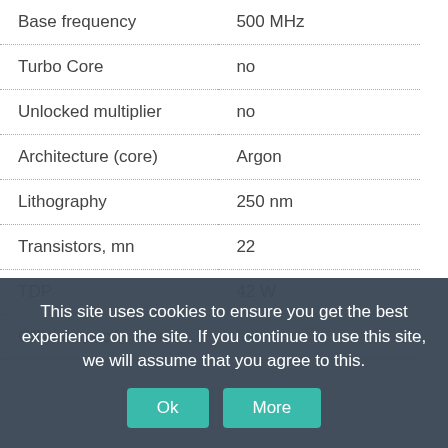| Property | Value |
| --- | --- |
| Base frequency | 500 MHz |
| Turbo Core | no |
| Unlocked multiplier | no |
| Architecture (core) | Argon |
| Lithography | 250 nm |
| Transistors, mn | 22 |
| TDP | 42 W |
| Official specifications | follow > |
Internal memory
| Property | Value |
| --- | --- |
| L1 Cache, Kb | 128 |
| L2 Cache, Kb | no |
| L3 Cache, Kb | no |
This site uses cookies to ensure you get the best experience on the site. If you continue to use this site, we will assume that you agree to this.